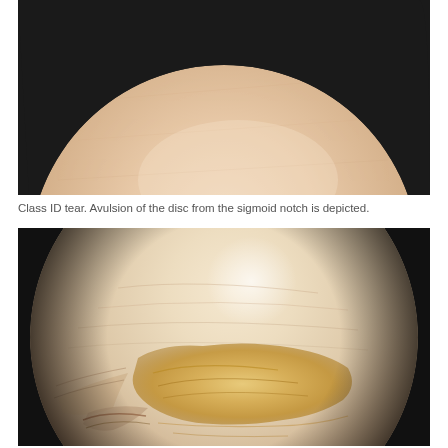[Figure (photo): Arthroscopic image showing upper portion of joint space, cropped to show skin/tissue arc against black background]
Class ID tear. Avulsion of the disc from the sigmoid notch is depicted.
[Figure (photo): Arthroscopic image showing disc avulsion from sigmoid notch, circular field of view with yellowish-tan tissue tear visible in lower central area against pale tissue background]